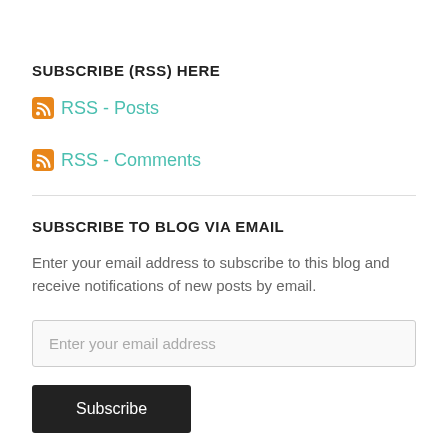SUBSCRIBE (RSS) HERE
RSS - Posts
RSS - Comments
SUBSCRIBE TO BLOG VIA EMAIL
Enter your email address to subscribe to this blog and receive notifications of new posts by email.
Enter your email address
Subscribe